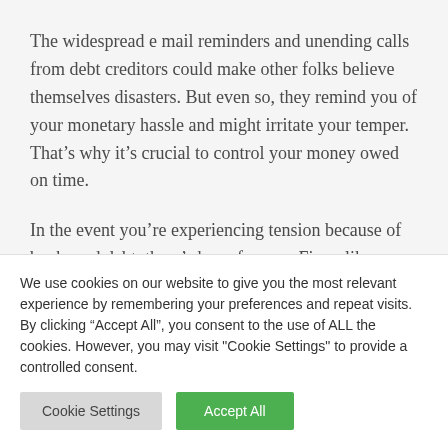The widespread e mail reminders and unending calls from debt creditors could make other folks believe themselves disasters. But even so, they remind you of your monetary hassle and might irritate your temper. That's why it's crucial to control your money owed on time.
In the event you're experiencing tension because of bank card debt, there's hope for you. Firms like Freedom Debt
We use cookies on our website to give you the most relevant experience by remembering your preferences and repeat visits. By clicking "Accept All", you consent to the use of ALL the cookies. However, you may visit "Cookie Settings" to provide a controlled consent.